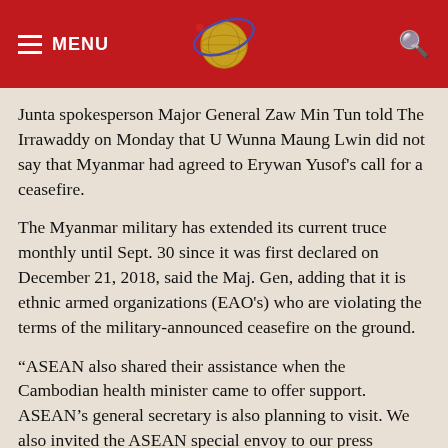MENU [logo] [search]
Junta spokesperson Major General Zaw Min Tun told The Irrawaddy on Monday that U Wunna Maung Lwin did not say that Myanmar had agreed to Erywan Yusof's call for a ceasefire.
The Myanmar military has extended its current truce monthly until Sept. 30 since it was first declared on December 21, 2018, said the Maj. Gen, adding that it is ethnic armed organizations (EAO's) who are violating the terms of the military-announced ceasefire on the ground.
“ASEAN also shared their assistance when the Cambodian health minister came to offer support. ASEAN’s general secretary is also planning to visit. We also invited the ASEAN special envoy to our press conference, which he declined to join,” said Maj. Gen. Zaw Min Tun.